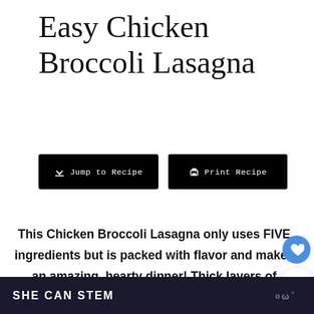Easy Chicken Broccoli Lasagna
[Figure (other): Two black buttons: 'Jump to Recipe' with download arrow icon, and 'Print Recipe' with printer icon]
This Chicken Broccoli Lasagna only uses FIVE ingredients but is packed with flavor and makes an amazing, hearty dinner! Thick layers of broccoli, chicken, and cheese are baked in Alfredo sauce with hardly any hassle at all! This dish
SHE CAN STEM